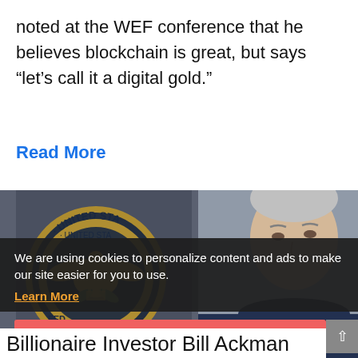noted at the WEF conference that he believes blockchain is great, but says “let’s call it a digital gold.”
Read More
[Figure (photo): Photo of a man (Bill Ackman) in front of a United States Federal Reserve seal. The gold seal shows an eagle with 'UNITED STATES' and 'FED' text visible.]
We are using cookies to personalize content and ads to make our site easier for you to use.
Learn More
AGREE
Billionaire Investor Bill Ackman